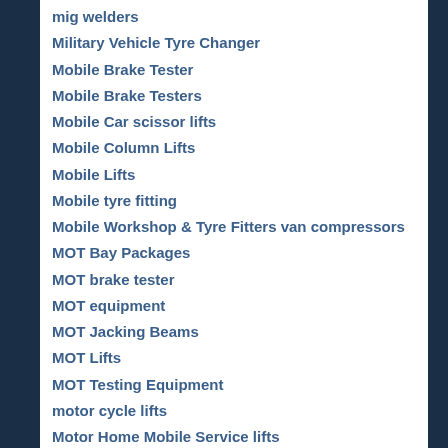mig welders
Military Vehicle Tyre Changer
Mobile Brake Tester
Mobile Brake Testers
Mobile Car scissor lifts
Mobile Column Lifts
Mobile Lifts
Mobile tyre fitting
Mobile Workshop & Tyre Fitters van compressors
MOT Bay Packages
MOT brake tester
MOT equipment
MOT Jacking Beams
MOT Lifts
MOT Testing Equipment
motor cycle lifts
Motor Home Mobile Service lifts
Motorcycle Lifts